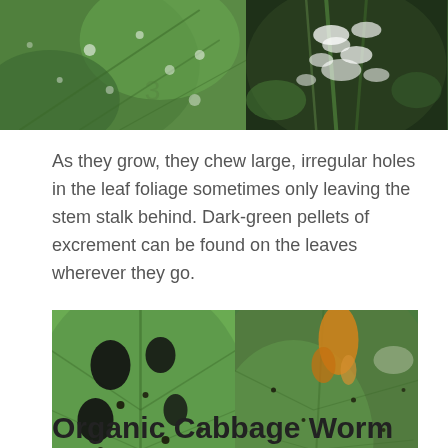[Figure (photo): Two photos at top: left shows a large green leaf with white spots/powdery marks, right shows a plant stem with white fluffy masses/insects on it]
As they grow, they chew large, irregular holes in the leaf foliage sometimes only leaving the stem stalk behind. Dark-green pellets of excrement can be found on the leaves wherever they go.
[Figure (photo): Two photos side by side: left shows a large green leaf with large irregular holes chewed through it and dark excrement pellets visible, right shows the underside of a large green leaf with small dark spots/frass scattered across it and what appears to be an orange caterpillar]
Organic Cabbage Worm